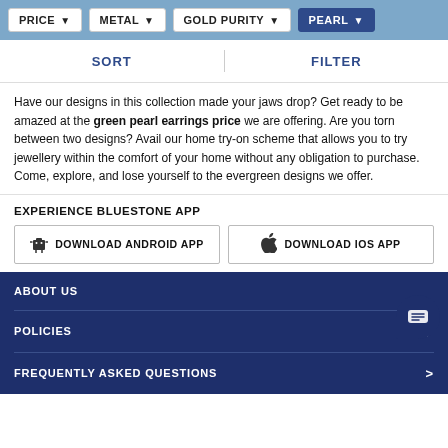PRICE  METAL  GOLD PURITY  PEARL
SORT   FILTER
Have our designs in this collection made your jaws drop? Get ready to be amazed at the green pearl earrings price we are offering. Are you torn between two designs? Avail our home try-on scheme that allows you to try jewellery within the comfort of your home without any obligation to purchase. Come, explore, and lose yourself to the evergreen designs we offer.
EXPERIENCE BLUESTONE APP
DOWNLOAD ANDROID APP   DOWNLOAD IOS APP
ABOUT US
POLICIES
FREQUENTLY ASKED QUESTIONS